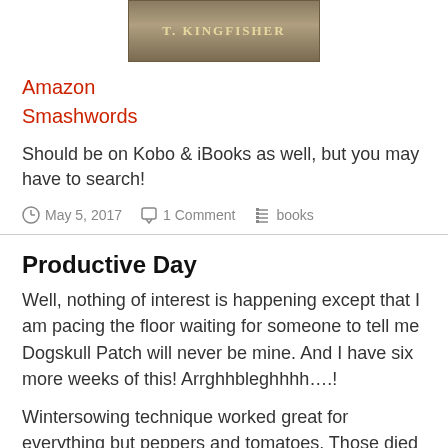[Figure (illustration): Book cover image with author name T. KINGFISHER on a textured brown/olive background]
Amazon
Smashwords
Should be on Kobo & iBooks as well, but you may have to search!
May 5, 2017   1 Comment   books
Productive Day
Well, nothing of interest is happening except that I am pacing the floor waiting for someone to tell me Dogskull Patch will never be mine. And I have six more weeks of this! Arrghhbleghhhh….!
Wintersowing technique worked great for everything but peppers and tomatoes. Those died in our recent cold snap. Fortunately I have back ups!